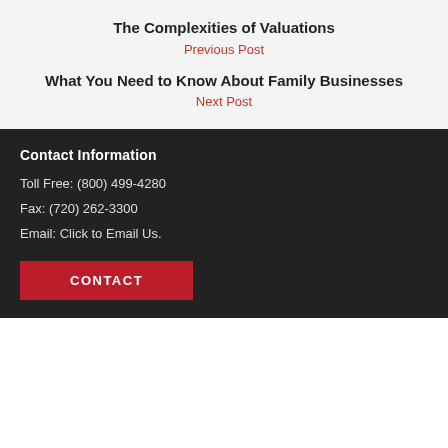The Complexities of Valuations
Previous Post
What You Need to Know About Family Businesses
Next Post
Contact Information
Toll Free: (800) 499-4280
Fax: (720) 262-3300
Email: Click to Email Us.
CONTACT